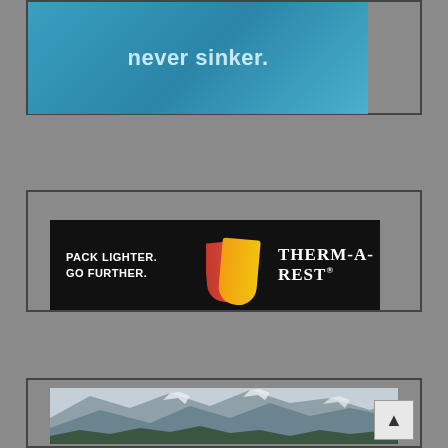[Figure (illustration): Advertisement banner with blue background showing text 'never sinker.' in white bold letters]
[Figure (illustration): Therm-a-Rest advertisement on black background with text 'PACK LIGHTER. GO FURTHER.' on left, sleeping pad image in center, and THERM-A-REST brand name on right]
[Figure (photo): Mountain landscape photo showing snow-capped rocky mountain peaks with trees at the bottom, with a scroll-to-top button overlay in the bottom right corner]